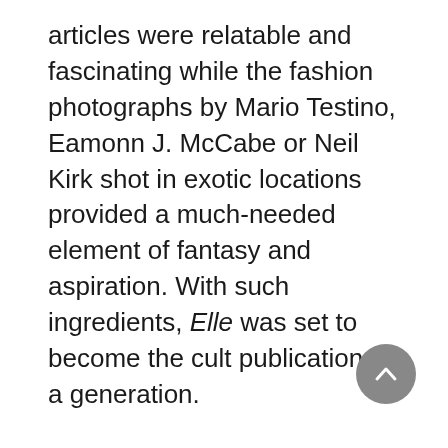articles were relatable and fascinating while the fashion photographs by Mario Testino, Eamonn J. McCabe or Neil Kirk shot in exotic locations provided a much-needed element of fantasy and aspiration. With such ingredients, Elle was set to become the cult publication of a generation.
This spread here, entitled ‘French Fashion’ and photographed by Chris Dawes for the March 1986 issue of Elle, showcases why the magazine was so groundbreaking in its first few years. Tapping into a younger, yet still style-conscious audience, guides on how to achieve a look which appears to be